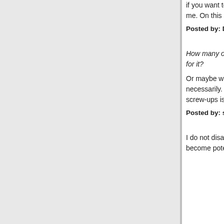if you want to talk about what to do with ISIS, I do agree with giving air support to the Kurds and other locals seems right to me. On this particular issue I don't have much to offer—I haven't seen any obviously better ideas, though m...
Posted by: Donald johnson | February 27, 2015 at 07:34 PM
How many of us would be pretty pissed after years... Guantanamo and the other bases and black sites... to take revenge for it?
Or maybe we/they would have Stockholm syndrome... psychoanalyze them, but to do what's right, finally let them go, necessarily. If we can find untainted evidence on people, we should absolutely try and punish them... because we were screw-ups is not acceptable. H... Sec of Def.
Posted by: sapient | February 27, 2015 at 07:47 PM
I do not disagree with you, sapient. But it is a real... releasing even the 'originally innocent' will blow u... them will have become potential terrorists through... any act by a person released will be used by their...